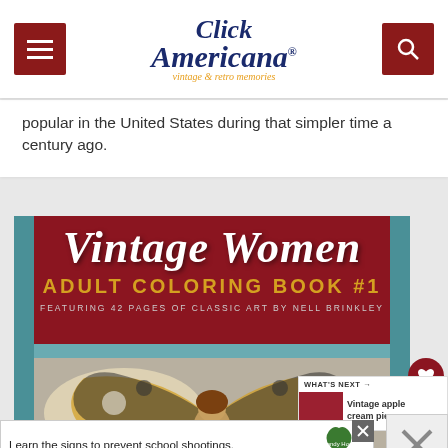Click Americana — vintage & retro memories
popular in the United States during that simpler time a century ago.
[Figure (illustration): Book cover for 'Vintage Women Adult Coloring Book #1' featuring 42 pages of classic art by Nell Brinkley, with a woman with butterfly wings illustration, on a dark red/maroon background with teal side bars]
WHAT'S NEXT → Vintage apple cream pie...
Learn the signs to prevent school shootings.